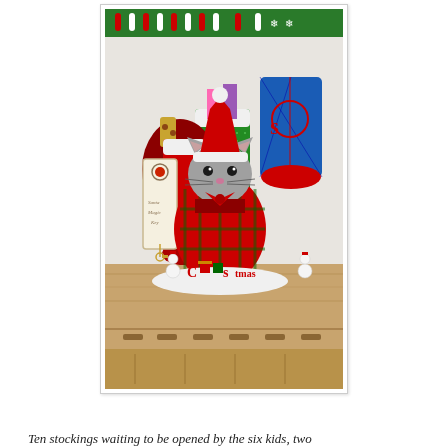[Figure (photo): A photograph of Christmas stockings on a wooden dresser. In the center is a stuffed cat toy wearing a Santa hat and a plaid red outfit. Surrounding it are multiple Christmas stockings including a green glittery one, a red one, and a Spiderman-themed one. A wooden doorknob hanger sign is on the left side. In the front is a decorative Christmas sign with snowmen and the word 'Christmas'. At the top of the image, green and red Christmas wrapping paper is visible.]
Ten stockings waiting to be opened by the six kids, two